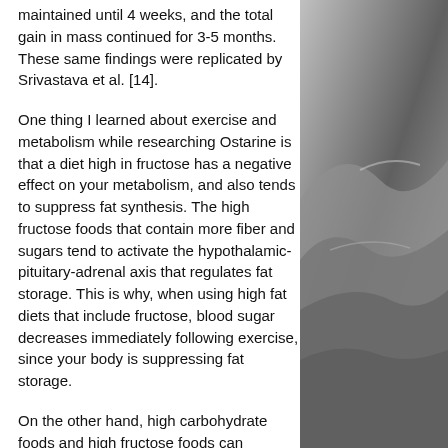maintained until 4 weeks, and the total gain in mass continued for 3-5 months. These same findings were replicated by Srivastava et al. [14].
One thing I learned about exercise and metabolism while researching Ostarine is that a diet high in fructose has a negative effect on your metabolism, and also tends to suppress fat synthesis. The high fructose foods that contain more fiber and sugars tend to activate the hypothalamic-pituitary-adrenal axis that regulates fat storage. This is why, when using high fat diets that include fructose, blood sugar decreases immediately following exercise, since your body is suppressing fat storage.
On the other hand, high carbohydrate foods and high fructose foods can increase muscle mass through the activation of the hypothalamic-pituitary-adrenal axis...
[Figure (photo): Grayscale photograph of sandy dunes or mountainous terrain, occupying the right portion of the page.]